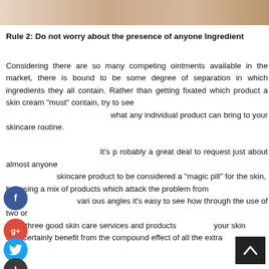[Figure (photo): Partial photo strip at top of page showing skin/hand area]
Rule 2: Do not worry about the presence of anyone Ingredient
Considering there are so many competing ointments available in the market, there is bound to be some degree of separation in which ingredients they all contain. Rather than getting fixated which product a skin cream "must" contain, try to see what any individual product can bring to your skincare routine. It's probably a great deal to request just about almost anyone skincare product to be considered a "magic pill" for the skin, but using a mix of products which attack the problem from various angles it's easy to see how through the use of two or even three good skin care services and products your skin may certainly benefit from the compound effect of all the extra